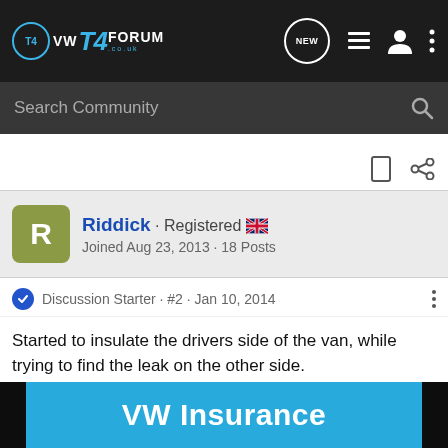VW T4 Forum - Navigation bar with logo, NEW, list, user, and menu icons
Search Community
Riddick · Registered 🇬🇧
Joined Aug 23, 2013 · 18 Posts
Discussion Starter · #2 · Jan 10, 2014
Started to insulate the drivers side of the van, while trying to find the leak on the other side.
VW Insurance